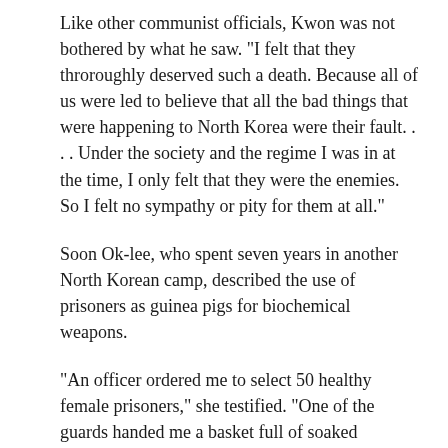Like other communist officials, Kwon was not bothered by what he saw. "I felt that they throroughly deserved such a death. Because all of us were led to believe that all the bad things that were happening to North Korea were their fault. . . . Under the society and the regime I was in at the time, I only felt that they were the enemies. So I felt no sympathy or pity for them at all."
Soon Ok-lee, who spent seven years in another North Korean camp, described the use of prisoners as guinea pigs for biochemical weapons.
"An officer ordered me to select 50 healthy female prisoners," she testified. "One of the guards handed me a basket full of soaked cabbage, told me not to eat it, but to give it to the 50 women. I gave them out and heard a scream. . . . They were all screaming and vomiting blood. All who ate the cabbage leaves started violently vomiting blood and screaming with pain. It was hell. In less than 20 minutes, they were dead."
Gas chambers. Poisoned food. Torture. The murder of whole families. Massive death tolls. How much more